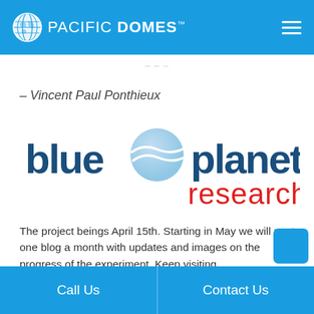PACIFIC DOMES™
– Vincent Paul Ponthieux
[Figure (logo): Blue Planet Research logo with globe icon between 'blue' and 'planet', and 'research' in red below]
The project beings April 15th. Starting in May we will post one blog a month with updates and images on the progress of the experiment. Keep visiting PacificDomes.com for more information.
[Figure (other): Social media icons: Facebook, Twitter, and share/add button in blue rounded squares]
Call Us   Contact Us